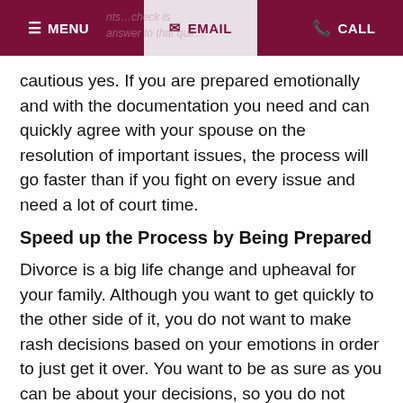MENU | EMAIL | CALL
cautious yes. If you are prepared emotionally and with the documentation you need and can quickly agree with your spouse on the resolution of important issues, the process will go faster than if you fight on every issue and need a lot of court time.
Speed up the Process by Being Prepared
Divorce is a big life change and upheaval for your family. Although you want to get quickly to the other side of it, you do not want to make rash decisions based on your emotions in order to just get it over. You want to be as sure as you can be about your decisions, so you do not have regrets later.
There are some things that take time over which you